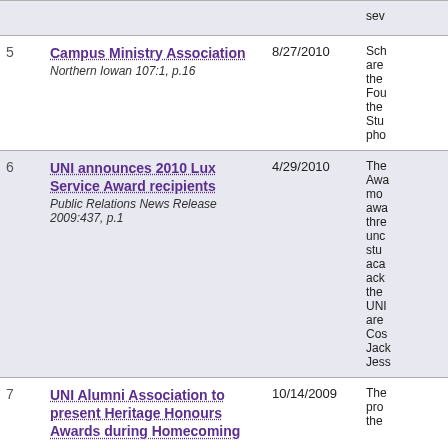| # | Title / Source | Date | Description |
| --- | --- | --- | --- |
|  |  |  | sev... |
| 5 | Campus Ministry Association
Northern Iowan 107:1, p.16 | 8/27/2010 | Sch
are
the
Fou
the
Stu
pho |
| 6 | UNI announces 2010 Lux Service Award recipients
Public Relations News Release 2009:437, p.1 | 4/29/2010 | The
Awa
mo
awa
thre
unc
stu
aca
ack
the
UNI
are
Cos
Jac
Jess |
| 7 | UNI Alumni Association to present Heritage Honours Awards during Homecoming | 10/14/2009 | The
pro
the |